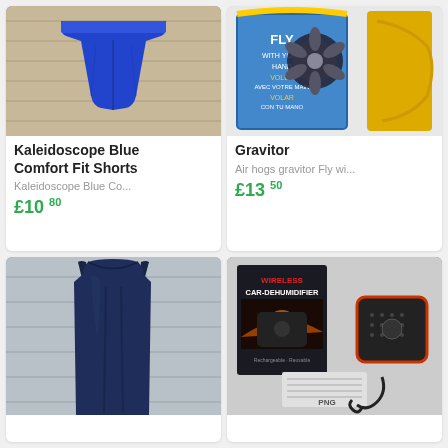[Figure (photo): Blue comfort fit shorts laid flat on a wooden surface]
Kaleidoscope Blue Comfort Fit Shorts
Kaleidoscope Blue Co...
£10.80
[Figure (photo): Air hogs Gravitor flying toy box with fan/drone visible]
Gravitor
Air hogs gravitor Fly wi...
£13.50
[Figure (photo): Navy blue sleeveless dress/top hanging on a wooden background]
[Figure (photo): Wireless Car Dehumidifier product box and device with accessories]